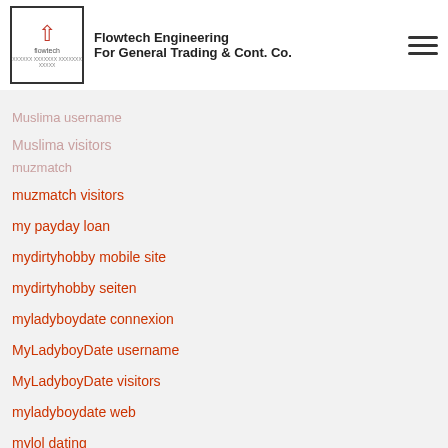Flowtech Engineering For General Trading & Cont. Co.
muslima preise
muslima username
Muslima visitors
muzmatch visitors
my payday loan
mydirtyhobby mobile site
mydirtyhobby seiten
myladyboydate connexion
MyLadyboyDate username
MyLadyboyDate visitors
myladyboydate web
mylol dating
myrussianbride.net russian dating
mytranssexualdate login